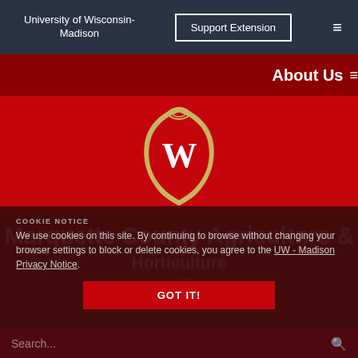University of Wisconsin-Madison | Support Extension
About Us
[Figure (logo): University of Wisconsin-Madison crest/seal with W on red background, gold border, on red banner]
Marquette County Agriculture & Horticulture
Division of Extension
COOKIE NOTICE
We use cookies on this site. By continuing to browse without changing your browser settings to block or delete cookies, you agree to the UW - Madison Privacy Notice.
GOT IT!
Search...